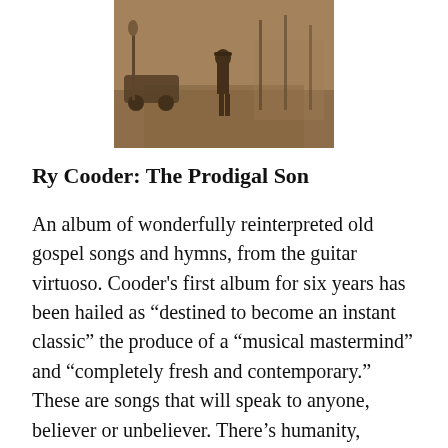[Figure (photo): Sepia-toned vintage photograph of a person standing on a street with old-fashioned vehicles in the background, used as an album cover for Ry Cooder: The Prodigal Son]
Ry Cooder: The Prodigal Son
An album of wonderfully reinterpreted old gospel songs and hymns, from the guitar virtuoso. Cooder's first album for six years has been hailed as “destined to become an instant classic” the produce of a “musical mastermind” and “completely fresh and contemporary.” These are songs that will speak to anyone, believer or unbeliever. There’s humanity, decency, inspiration, hope in these songs, that anyone can feel. You can find more comment on this album here:
Here are our picks for 11-20, again in